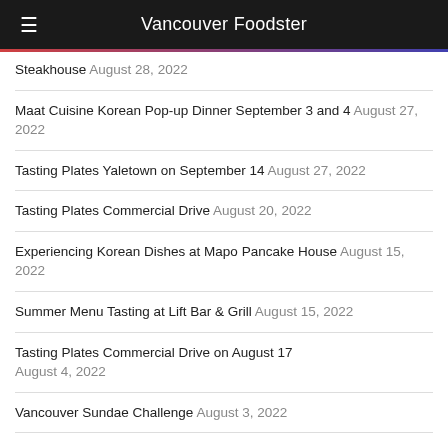Vancouver Foodster
Steakhouse August 28, 2022
Maat Cuisine Korean Pop-up Dinner September 3 and 4 August 27, 2022
Tasting Plates Yaletown on September 14 August 27, 2022
Tasting Plates Commercial Drive August 20, 2022
Experiencing Korean Dishes at Mapo Pancake House August 15, 2022
Summer Menu Tasting at Lift Bar & Grill August 15, 2022
Tasting Plates Commercial Drive on August 17 August 4, 2022
Vancouver Sundae Challenge August 3, 2022